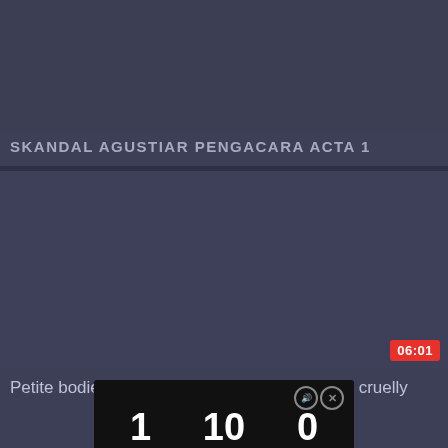[Figure (screenshot): Video thumbnail placeholder, dark blue-gray background]
00:18
SKANDAL AGUSTIAR PENGACARA ACTA 1
[Figure (screenshot): Second video thumbnail placeholder, dark blue-gray background]
06:01
Petite bodied white girl Ryan Riesling blacked cruelly
[Figure (screenshot): Third video thumbnail at bottom, black background with large white numbers]